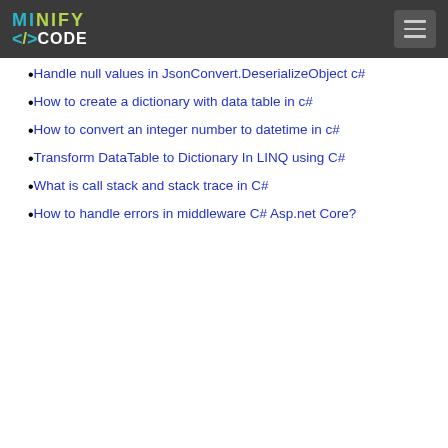MINIFY </> CODE
Handle null values in JsonConvert.DeserializeObject c#
How to create a dictionary with data table in c#
How to convert an integer number to datetime in c#
Transform DataTable to Dictionary In LINQ using C#
What is call stack and stack trace in C#
How to handle errors in middleware C# Asp.net Core?